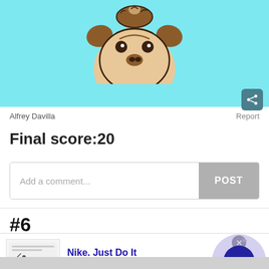[Figure (illustration): Cartoon pug dog illustration on cyan/light blue background, showing the top portion of a round pug face with brown/tan coloring]
Alfrey Davilla
Report
Final score:20
Add a comment...
POST
#6
Nike. Just Do It
Inspiring the world's athletes, Nike delivers the deals
www.nike.com